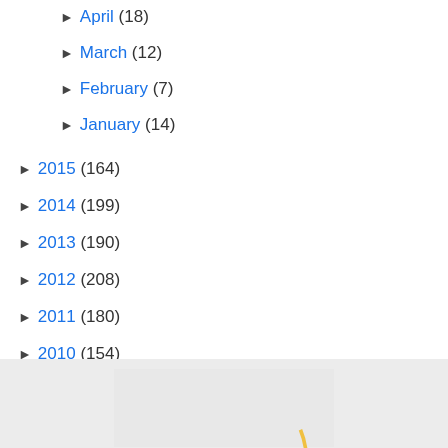April (18)
March (12)
February (7)
January (14)
2015 (164)
2014 (199)
2013 (190)
2012 (208)
2011 (180)
2010 (154)
2009 (105)
2008 (42)
[Figure (illustration): Partial decorative image showing a swirling brown and gold circular logo or emblem at the bottom of the page, on a light gray background.]